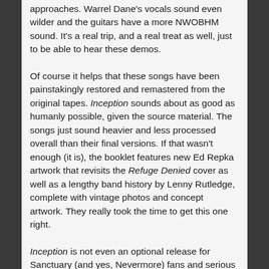approaches. Warrel Dane's vocals sound even wilder and the guitars have a more NWOBHM sound. It's a real trip, and a real treat as well, just to be able to hear these demos.
Of course it helps that these songs have been painstakingly restored and remastered from the original tapes. Inception sounds about as good as humanly possible, given the source material. The songs just sound heavier and less processed overall than their final versions. If that wasn't enough (it is), the booklet features new Ed Repka artwork that revisits the Refuge Denied cover as well as a lengthy band history by Lenny Rutledge, complete with vintage photos and concept artwork. They really took the time to get this one right.
Inception is not even an optional release for Sanctuary (and yes, Nevermore) fans and serious collectors of '80s heavy metal; it's mandatory. This is a gift from the metal gods, and deserves to be heard. And since this prayer has been answered, how about two more Sanctuary reissues: a properly remastered Refuge Denied and a remastered Into the Mirror Black with the Into the Mirror Live EP added as bonus